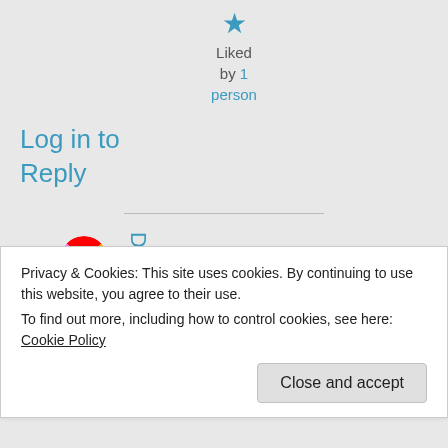★ Liked by 1 person
Log in to Reply
[Figure (illustration): Rainbow colorful circular avatar icon]
Didi
Privacy & Cookies: This site uses cookies. By continuing to use this website, you agree to their use.
To find out more, including how to control cookies, see here: Cookie Policy
Close and accept